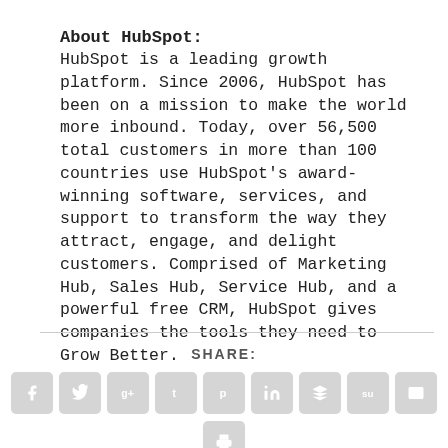About HubSpot:
HubSpot is a leading growth platform. Since 2006, HubSpot has been on a mission to make the world more inbound. Today, over 56,500 total customers in more than 100 countries use HubSpot's award-winning software, services, and support to transform the way they attract, engage, and delight customers. Comprised of Marketing Hub, Sales Hub, Service Hub, and a powerful free CRM, HubSpot gives companies the tools they need to Grow Better.
SHARE:
[Figure (infographic): Social share buttons: Facebook, Twitter, Google+, Tumblr, Pinterest, LinkedIn, Buffer, StumbleUpon, Email, and a print button]